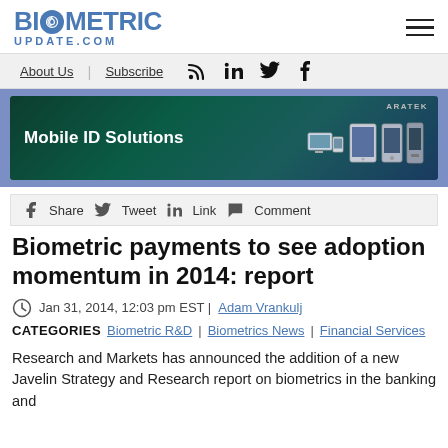BIOMETRIC UPDATE.COM
[Figure (screenshot): Navigation bar with About Us, Subscribe links and social media icons (RSS, LinkedIn, Twitter, Facebook)]
[Figure (photo): Advertisement banner for ARATEK Mobile ID Solutions showing various mobile ID devices on dark green/teal background]
[Figure (screenshot): Social share bar with Facebook Share, Twitter Tweet, LinkedIn Link, and Comment buttons]
Biometric payments to see adoption momentum in 2014: report
Jan 31, 2014, 12:03 pm EST | Adam Vrankulj
CATEGORIES   Biometric R&D | Biometrics News | Financial Services
Research and Markets has announced the addition of a new Javelin Strategy and Research report on biometrics in the banking and